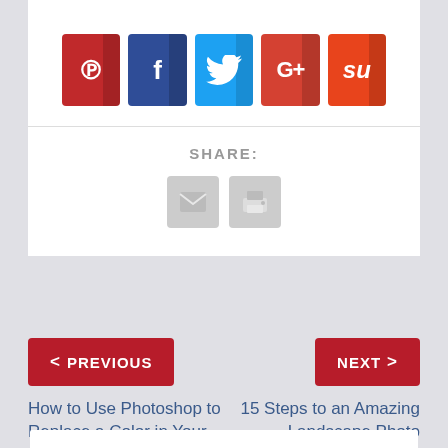[Figure (screenshot): Social share buttons row: Pinterest (red), Facebook (dark blue), Twitter (light blue), Google+ (red), StumbleUpon (orange-red), each with icon]
SHARE:
[Figure (screenshot): Two gray share icon buttons: email envelope and printer]
< PREVIOUS
NEXT >
How to Use Photoshop to Replace a Color in Your Photos
15 Steps to an Amazing Landscape Photo